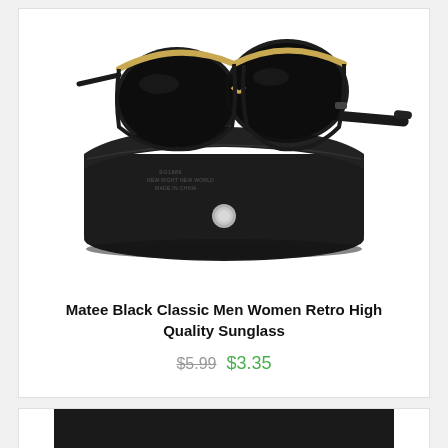[Figure (photo): Black retro clubmaster-style sunglasses resting on a black leather snap-closure case. The case has text reading SG1886 NEW RIGHT NEW WORLD MADE IN CHINA and a round silver snap button.]
Matee Black Classic Men Women Retro High Quality Sunglass
$5.99  $3.35
[Figure (photo): Partial view of a second product image showing a dark textured black fabric or material at the bottom of the page.]